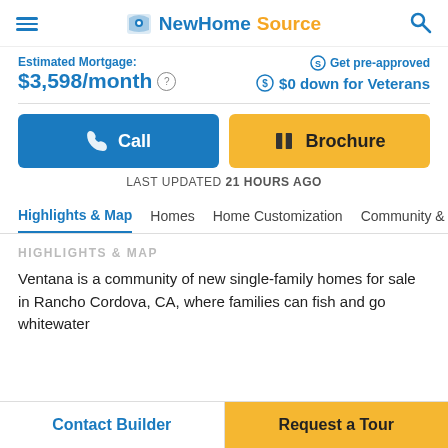NewHomeSource
Estimated Mortgage: $3,598/month
Get pre-approved
$0 down for Veterans
Call
Brochure
LAST UPDATED 21 HOURS AGO
Highlights & Map
Homes
Home Customization
Community & Neigh…
HIGHLIGHTS & MAP
Ventana is a community of new single-family homes for sale in Rancho Cordova, CA, where families can fish and go whitewater
Contact Builder
Request a Tour